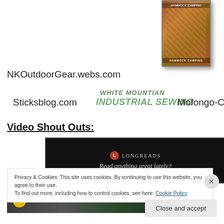[Figure (photo): Book cover for a hammock camping guide, shown at top right of page]
NKOutdoorGear.webs.com
WHITE MOUNTIAN
INDUSTRIAL SEWING
Sticksblog.com
Mofongo-Con-Pernil
Video Shout Outs:
[Figure (screenshot): Longreads advertisement: black background with red circle L logo, text 'LONGREADS' and 'Read anything great lately?']
REPORT THIS AD
[Figure (screenshot): Video thumbnail showing outdoor/nature scene with yellow circle element]
Privacy & Cookies: This site uses cookies. By continuing to use this website, you agree to their use.
To find out more, including how to control cookies, see here: Cookie Policy